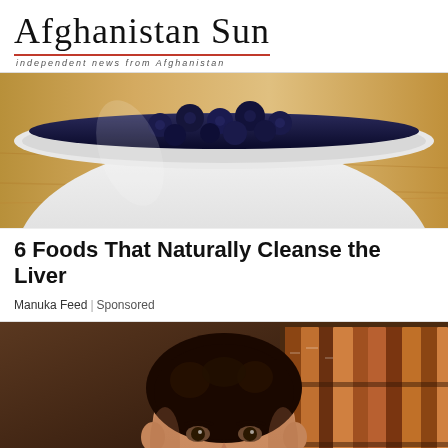Afghanistan Sun — independent news from Afghanistan
[Figure (photo): A white ceramic bowl filled with dark berries (blueberries) on a wooden table surface, shot from a low angle]
6 Foods That Naturally Cleanse the Liver
Manuka Feed | Sponsored
[Figure (photo): A smiling dark-haired man in front of a bookshelf filled with books]